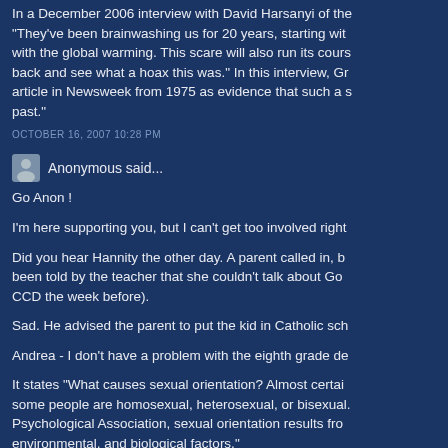In a December 2006 interview with David Harsanyi of the "They've been brainwashing us for 20 years, starting with with the global warming. This scare will also run its cours back and see what a hoax this was." In this interview, Gr article in Newsweek from 1975 as evidence that such a s past."
OCTOBER 16, 2007 10:28 PM
Anonymous said...
Go Anon !
I'm here supporting you, but I can't get too involved right
Did you hear Hannity the other day. A parent called in, b been told by the teacher that she couldn't talk about Go CCD the week before).
Sad. He advised the parent to put the kid in Catholic sch
Andrea - I don't have a problem with the eighth grade de
It states "What causes sexual orientation? Almost certai some people are homosexual, heterosexual, or bisexual. Psychological Association, sexual orientation results fro environmental, and biological factors."